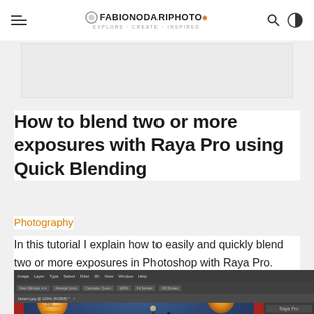FabioNodariPhoto — Explore · Create · Inspired
[Figure (screenshot): Advertisement banner placeholder]
How to blend two or more exposures with Raya Pro using Quick Blending
Photography
In this tutorial I explain how to easily and quickly blend two or more exposures in Photoshop with Raya Pro.
[Figure (screenshot): Photoshop interface screenshot showing Chinese lanterns photo being edited with Raya Pro panel visible on the right side]